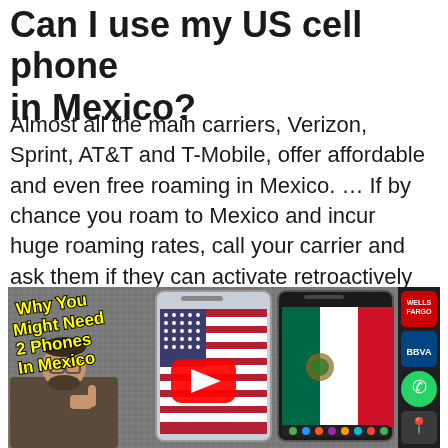Can I use my US cell phone in Mexico?
Almost all the main carriers, Verizon, Sprint, AT&T and T-Mobile, offer affordable and even free roaming in Mexico. ... If by chance you roam to Mexico and incur huge roaming rates, call your carrier and ask them if they can activate retroactively a better plan and charge you accordingly.
[Figure (photo): YouTube video thumbnail titled 'Why You Might Need 2 Phones In Mexico' showing a man giving thumbs up, two smartphones (one showing US flag with YouTube play button overlay, one showing Mexican flag), and app icons on the right including Wells Fargo, BBVA, WhatsApp.]